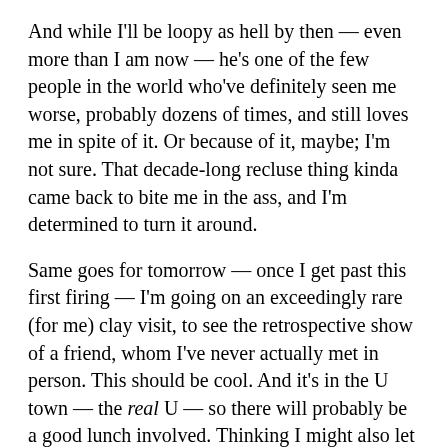And while I'll be loopy as hell by then — even more than I am now — he's one of the few people in the world who've definitely seen me worse, probably dozens of times, and still loves me in spite of it. Or because of it, maybe; I'm not sure. That decade-long recluse thing kinda came back to bite me in the ass, and I'm determined to turn it around.
Same goes for tomorrow — once I get past this first firing — I'm going on an exceedingly rare (for me) clay visit, to see the retrospective show of a friend, whom I've never actually met in person. This should be cool. And it's in the U town — the real U — so there will probably be a good lunch involved. Thinking I might also let myself go to the kick ass art supplies store and buy whatever feels right; even though my 14 year old car needs new shocks, struts and tires, and I'm a long way from banking any of the sale proceeds from all this bisqueware all around me, it seems like a fine time to